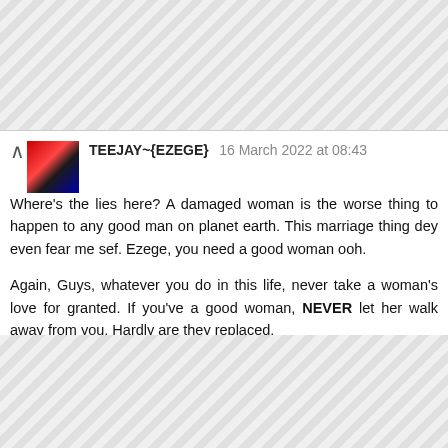[Figure (other): Decorative tiled hexagon/diamond pattern background at top]
TEEJAY~{EZEGE} 16 March 2022 at 08:43

Where's the lies here? A damaged woman is the worse thing to happen to any good man on planet earth. This marriage thing dey even fear me sef. Ezege, you need a good woman ooh.

Again, Guys, whatever you do in this life, never take a woman's love for granted. If you've a good woman, NEVER let her walk away from you. Hardly are they replaced.

I lost one and I still feel the pains and regret. Years later, I still haven't got it right.
[Figure (other): Decorative tiled hexagon/diamond pattern background at bottom]